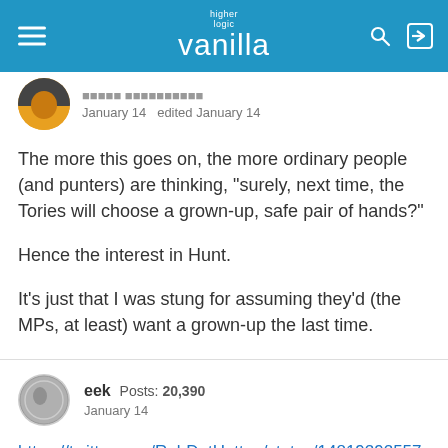higher logic vanilla
January 14   edited January 14
The more this goes on, the more ordinary people (and punters) are thinking, "surely, next time, the Tories will choose a grown-up, safe pair of hands?"
Hence the interest in Hunt.
It's just that I was stung for assuming they'd (the MPs, at least) want a grown-up the last time.
eek  Posts: 20,390
January 14
https://twitter.com/RobDotHutton/status/1481929255714017280